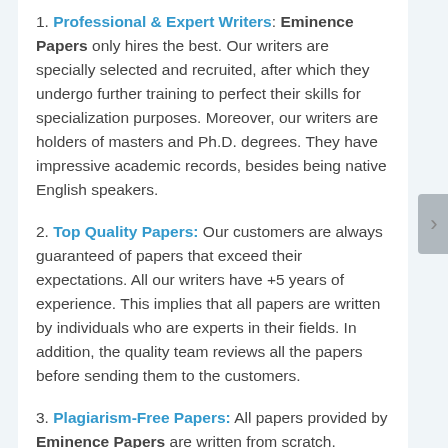1. Professional & Expert Writers: Eminence Papers only hires the best. Our writers are specially selected and recruited, after which they undergo further training to perfect their skills for specialization purposes. Moreover, our writers are holders of masters and Ph.D. degrees. They have impressive academic records, besides being native English speakers.
2. Top Quality Papers: Our customers are always guaranteed of papers that exceed their expectations. All our writers have +5 years of experience. This implies that all papers are written by individuals who are experts in their fields. In addition, the quality team reviews all the papers before sending them to the customers.
3. Plagiarism-Free Papers: All papers provided by Eminence Papers are written from scratch. Appropriate referencing and citation of key information are followed. Plagiarism checkers...